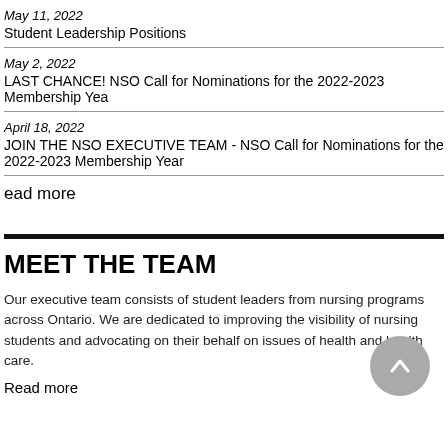May 11, 2022
Student Leadership Positions
May 2, 2022
LAST CHANCE! NSO Call for Nominations for the 2022-2023 Membership Yea
April 18, 2022
JOIN THE NSO EXECUTIVE TEAM - NSO Call for Nominations for the 2022-2023 Membership Year
ead more
MEET THE TEAM
Our executive team consists of student leaders from nursing programs across Ontario. We are dedicated to improving the visibility of nursing students and advocating on their behalf on issues of health and health care.
Read more